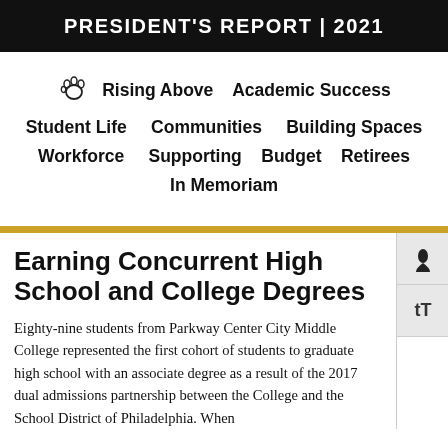PRESIDENT'S REPORT | 2021
Rising Above   Academic Success   Student Life   Communities   Building Spaces   Workforce   Supporting   Budget   Retirees   In Memoriam
Earning Concurrent High School and College Degrees
Eighty-nine students from Parkway Center City Middle College represented the first cohort of students to graduate high school with an associate degree as a result of the 2017 dual admissions partnership between the College and the School District of Philadelphia. When